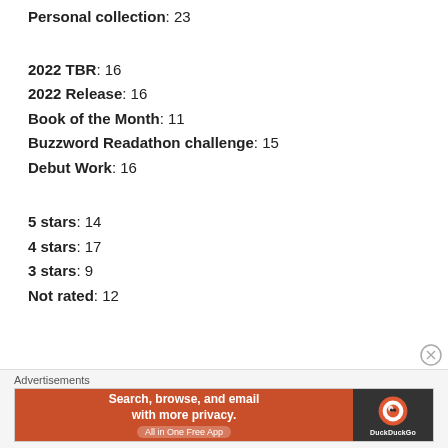Personal collection: 23
2022 TBR: 16
2022 Release: 16
Book of the Month: 11
Buzzword Readathon challenge: 15
Debut Work: 16
5 stars: 14
4 stars: 17
3 stars: 9
Not rated: 12
Advertisements
[Figure (screenshot): DuckDuckGo advertisement banner: 'Search, browse, and email with more privacy. All in One Free App' on orange background with DuckDuckGo logo on dark background.]